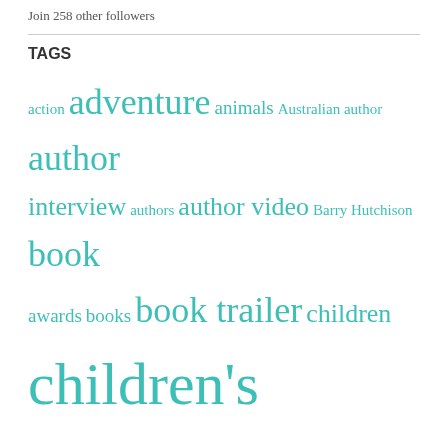Join 258 other followers
TAGS
action adventure animals Australian author author interview authors author video Barry Hutchison book awards books book trailer children children's fiction children's horror children's nonfiction competition Department 19 Derek Landy Donovan Bixley family fantasy Fast Five Fast Five Questions friendship funny futuristic Gecko Press ghosts graphic novel graphic novels Guest Post history horror humour humourous